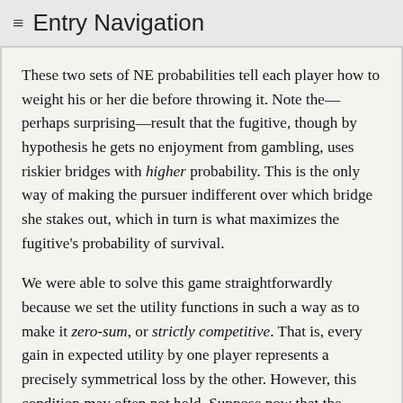≡ Entry Navigation
These two sets of NE probabilities tell each player how to weight his or her die before throwing it. Note the—perhaps surprising—result that the fugitive, though by hypothesis he gets no enjoyment from gambling, uses riskier bridges with higher probability. This is the only way of making the pursuer indifferent over which bridge she stakes out, which in turn is what maximizes the fugitive's probability of survival.
We were able to solve this game straightforwardly because we set the utility functions in such a way as to make it zero-sum, or strictly competitive. That is, every gain in expected utility by one player represents a precisely symmetrical loss by the other. However, this condition may often not hold. Suppose now that the utility functions are more complicated. The pursuer most prefers an outcome in which she shoots the fugitive and so claims credit for his apprehension to one in which he dies of rockfall or snakebite; and she prefers this second outcome to his escape. The fugitive prefers a quick death by